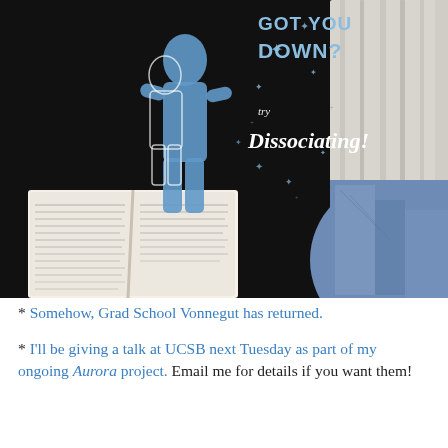[Figure (photo): A black t-shirt with a graphic design showing a blue human silhouette with sparkle stars and the text 'GOT YOU DOWN? try Dissociating!' printed on it. The shirt is surrounded by a white painted wooden surface, an open book, and blue jeans.]
* Somehow, Grad School Vonnegut has returned.
* I'll be giving a talk at UCSB next Tuesday as part of my ongoing Aurora project. Email me for details if you want them!